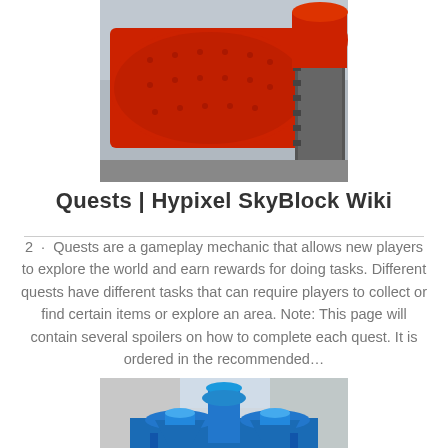[Figure (photo): Industrial red cylindrical ball mill machinery with gears, photographed in a factory setting.]
Quests | Hypixel SkyBlock Wiki
2 · Quests are a gameplay mechanic that allows new players to explore the world and earn rewards for doing tasks. Different quests have different tasks that can require players to collect or find certain items or explore an area. Note: This page will contain several spoilers on how to complete each quest. It is ordered in the recommended…
[Figure (photo): Industrial blue cone crusher machinery photographed outdoors.]